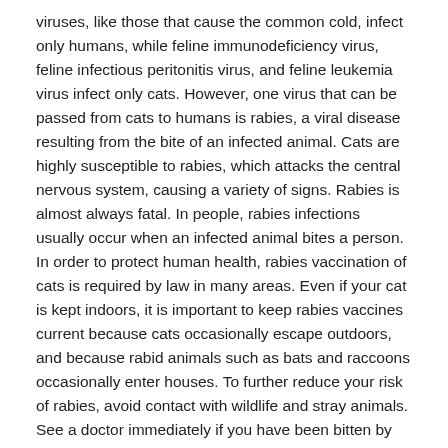viruses, like those that cause the common cold, infect only humans, while feline immunodeficiency virus, feline infectious peritonitis virus, and feline leukemia virus infect only cats. However, one virus that can be passed from cats to humans is rabies, a viral disease resulting from the bite of an infected animal. Cats are highly susceptible to rabies, which attacks the central nervous system, causing a variety of signs. Rabies is almost always fatal. In people, rabies infections usually occur when an infected animal bites a person. In order to protect human health, rabies vaccination of cats is required by law in many areas. Even if your cat is kept indoors, it is important to keep rabies vaccines current because cats occasionally escape outdoors, and because rabid animals such as bats and raccoons occasionally enter houses. To further reduce your risk of rabies, avoid contact with wildlife and stray animals. See a doctor immediately if you have been bitten by an animal.